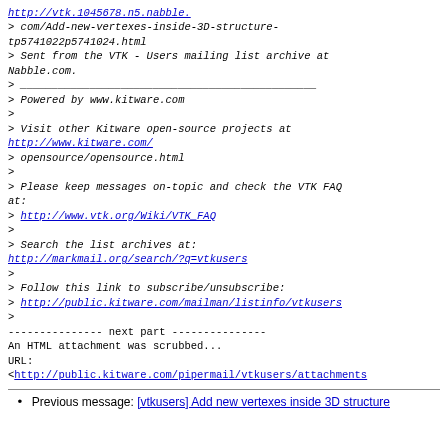> http://vtk.1045678.n5.nabble.com/Add-new-vertexes-inside-3D-structure-tp5741022p5741024.html
> Sent from the VTK - Users mailing list archive at Nabble.com.
> _______________________________________________
> Powered by www.kitware.com
>
> Visit other Kitware open-source projects at http://www.kitware.com/ opensource/opensource.html
>
> Please keep messages on-topic and check the VTK FAQ at:
> http://www.vtk.org/Wiki/VTK_FAQ
>
> Search the list archives at:
http://markmail.org/search/?q=vtkusers
>
> Follow this link to subscribe/unsubscribe:
> http://public.kitware.com/mailman/listinfo/vtkusers
>
--------------- next part ---------------
An HTML attachment was scrubbed...
URL:
<http://public.kitware.com/pipermail/vtkusers/attachments...>
Previous message: [vtkusers] Add new vertexes inside 3D structure